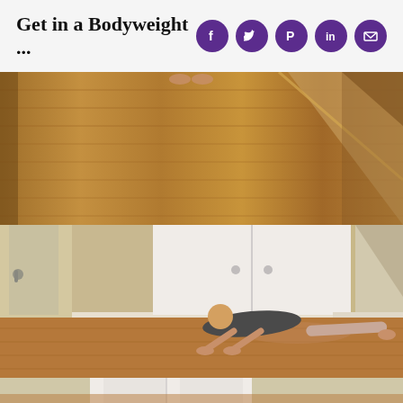Get in a Bodyweight ...
[Figure (photo): Page header with title 'Get in a Bodyweight ...' on light grey background with five purple circular social media icons (Facebook, Twitter, Pinterest, LinkedIn, Email) on the right.]
[Figure (photo): Top photo strip showing a hardwood floor from an overhead/angled perspective with a diagonal line dividing the image, with feet visible at the top.]
[Figure (photo): Middle photo showing a woman doing a push-up on a hardwood floor in a room with white closet doors and beige walls. She is wearing dark top and grey leggings.]
[Figure (photo): Bottom partial photo strip showing the bottom of a white door or cabinet on a hardwood floor.]